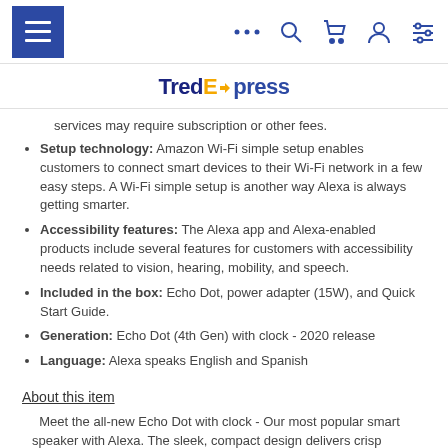TredExpress navigation bar
TredExpress
services may require subscription or other fees.
Setup technology: Amazon Wi-Fi simple setup enables customers to connect smart devices to their Wi-Fi network in a few easy steps. A Wi-Fi simple setup is another way Alexa is always getting smarter.
Accessibility features: The Alexa app and Alexa-enabled products include several features for customers with accessibility needs related to vision, hearing, mobility, and speech.
Included in the box: Echo Dot, power adapter (15W), and Quick Start Guide.
Generation: Echo Dot (4th Gen) with clock - 2020 release
Language: Alexa speaks English and Spanish
About this item
Meet the all-new Echo Dot with clock - Our most popular smart speaker with Alexa. The sleek, compact design delivers crisp